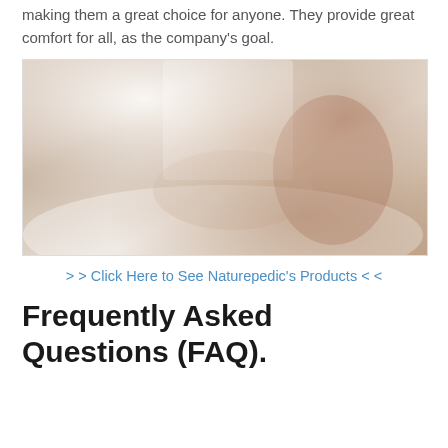making them a great choice for anyone. They provide great comfort for all, as the company's goal.
[Figure (photo): A woman lying on a bed with white sheets, arms raised, wearing a rust/terracotta colored top, photographed in natural light from a window.]
> > Click Here to See Naturepedic's Products < <
Frequently Asked Questions (FAQ).